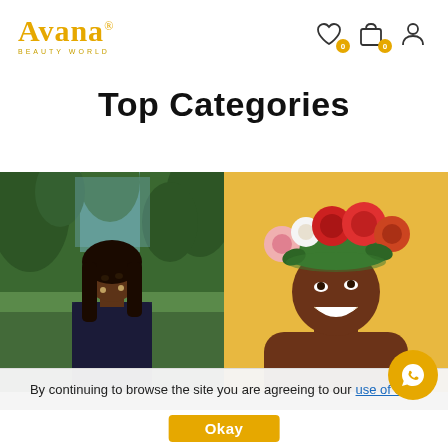[Figure (logo): Avana Beauty World logo in gold/yellow color with registered trademark symbol]
[Figure (infographic): Header icons: heart/wishlist with badge '0', shopping bag with badge '0', and user/profile icon]
Top Categories
[Figure (photo): Left photo: Black woman with long dark hair looking upward in a lush green forest/garden setting, wearing a dark floral top]
[Figure (photo): Right photo: Smiling Black woman wearing a colorful flower crown (red, pink, white flowers with green leaves) against a warm yellow/golden background]
By continuing to browse the site you are agreeing to our use of c...
Okay